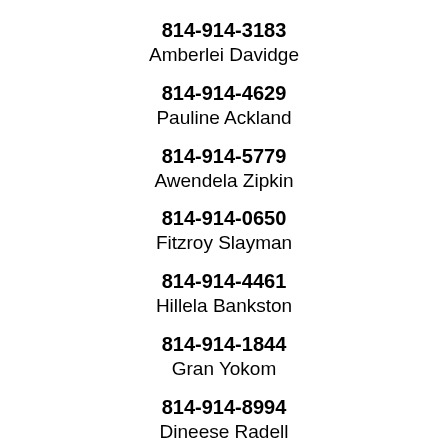814-914-3183
Amberlei Davidge
814-914-4629
Pauline Ackland
814-914-5779
Awendela Zipkin
814-914-0650
Fitzroy Slayman
814-914-4461
Hillela Bankston
814-914-1844
Gran Yokom
814-914-8994
Dineese Radell
814-914-4775
Demontae Thornquist
814-914-8261